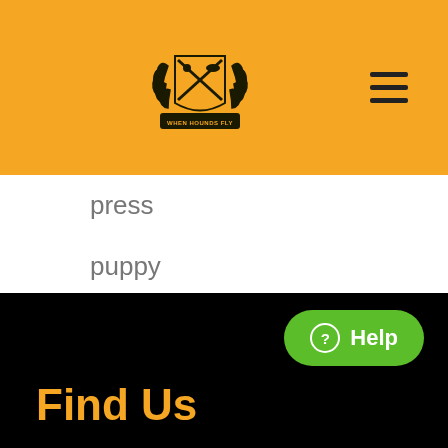[Figure (logo): When Hounds Fly logo — a crest/shield emblem with crossed items, laurel wreath, and banner text 'WHEN HOUNDS FLY']
press
puppy
resource
testimonial
training
Uncategorized
Help
Find Us